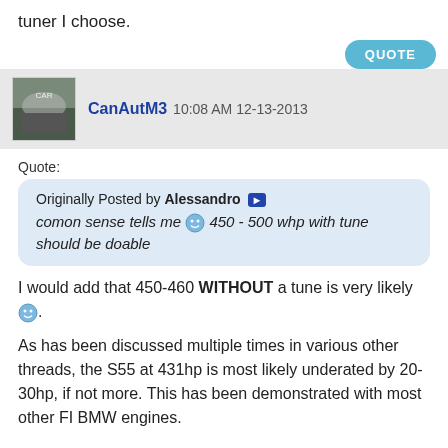tuner I choose.
QUOTE
CanAutM3  10:08 AM 12-13-2013
Quote:
Originally Posted by Alessandro
comon sense tells me 450 - 500 whp with tune should be doable
I would add that 450-460 WITHOUT a tune is very likely.
As has been discussed multiple times in various other threads, the S55 at 431hp is most likely underated by 20-30hp, if not more. This has been demonstrated with most other FI BMW engines.